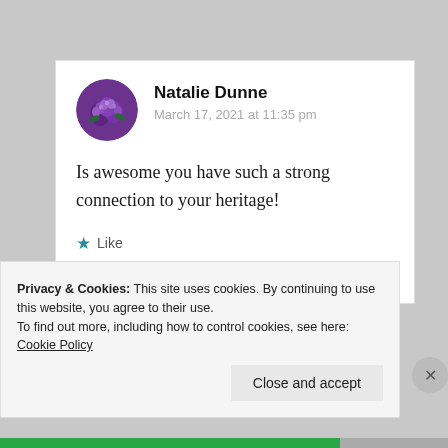Natalie Dunne
March 17, 2021 at 11:35 pm
Is awesome you have such a strong connection to your heritage!
★ Like
↪ Reply
Privacy & Cookies: This site uses cookies. By continuing to use this website, you agree to their use.
To find out more, including how to control cookies, see here: Cookie Policy
Close and accept